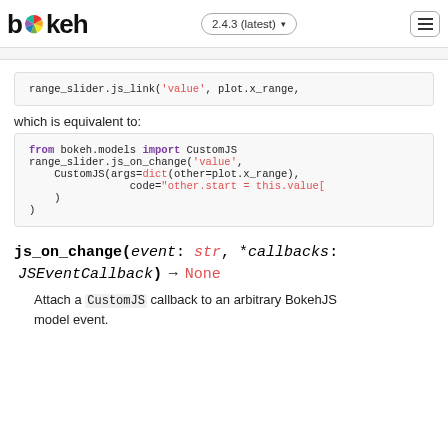bokeh 2.4.3 (latest)
[Figure (screenshot): Partial cut-off navigation breadcrumb bar]
range_slider.js_link('value', plot.x_range,
which is equivalent to:
from bokeh.models import CustomJS
range_slider.js_on_change('value',
    CustomJS(args=dict(other=plot.x_range),
                code="other.start = this.value[
    )
)
js_on_change(event: str, *callbacks: JSEventCallback) → None
Attach a CustomJS callback to an arbitrary BokehJS model event.